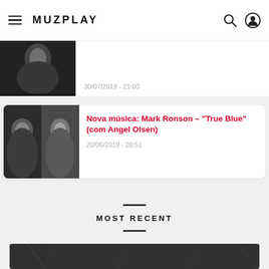MUZPLAY
[Figure (photo): Partial black and white photo of a woman, cropped at the top of the page, with a date stamp 30/07/2019 - 21:00]
30/07/2019 - 21:00
[Figure (photo): Two black and white portrait photos side by side: Mark Ronson on the left and Angel Olsen on the right]
Nova música: Mark Ronson – "True Blue" (com Angel Olsen)
20/06/2019 - 20:51
MOST RECENT
[Figure (photo): Partial dark textured image at the bottom of the page, likely an album artwork or article thumbnail]